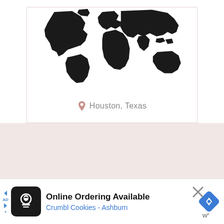[Figure (map): World map silhouette in black on white background inside a card with light pink border, showing continents. A pink location pin icon with 'Houston, Texas' label is shown near the bottom center of the map card.]
Houston, Texas
[Figure (infographic): Pink/rose-colored background section below the map card, with small ellipsis dots near the left edge.]
...
Online Ordering Available
Crumbl Cookies - Ashburn